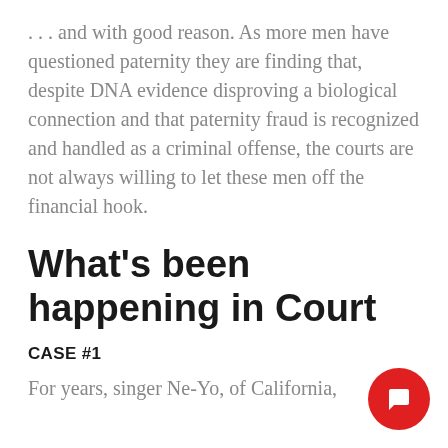. . . and with good reason. As more men have questioned paternity they are finding that, despite DNA evidence disproving a biological connection and that paternity fraud is recognized and handled as a criminal offense, the courts are not always willing to let these men off the financial hook.
What's been happening in Court
CASE #1
For years, singer Ne-Yo, of California,